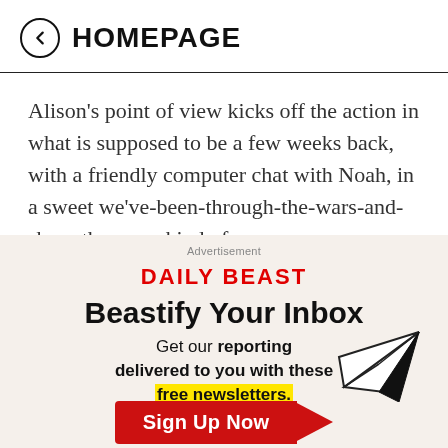← HOMEPAGE
Alison's point of view kicks off the action in what is supposed to be a few weeks back, with a friendly computer chat with Noah, in a sweet we've-been-through-the-wars-and-share-the-scars kind of a way.
Advertisement
[Figure (infographic): Daily Beast newsletter advertisement featuring 'DAILY BEAST' logo in red, headline 'Beastify Your Inbox', body text 'Get our reporting delivered to you with these free newsletters.' with 'free newsletters.' highlighted in yellow, a paper airplane illustration, and a red 'Sign Up Now' button.]